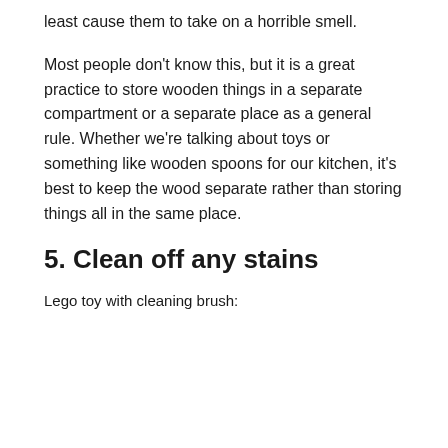least cause them to take on a horrible smell.
Most people don't know this, but it is a great practice to store wooden things in a separate compartment or a separate place as a general rule. Whether we're talking about toys or something like wooden spoons for our kitchen, it's best to keep the wood separate rather than storing things all in the same place.
5. Clean off any stains
Lego toy with cleaning brush: